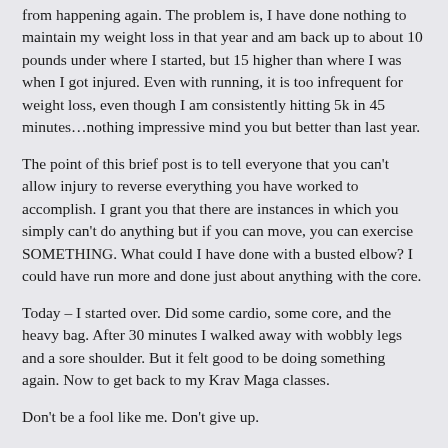from happening again.  The problem is, I have done nothing to maintain my weight loss in that year and am back up to about 10 pounds under where I started, but 15 higher than where I was when I got injured.  Even with running, it is too infrequent for weight loss, even though I am consistently hitting 5k in 45 minutes…nothing impressive mind you but better than last year.
The point of this brief post is to tell everyone that you can't allow injury to reverse everything you have worked to accomplish.  I grant you that there are instances in which you simply can't do anything but if you can move, you can exercise SOMETHING.  What could I have done with a busted elbow?  I could have run more and done just about anything with the core.
Today – I started over.  Did some cardio, some core, and the heavy bag.  After 30 minutes I walked away with wobbly legs and a sore shoulder.  But it felt good to be doing something again.  Now to get back to my Krav Maga classes.
Don't be a fool like me.  Don't give up.